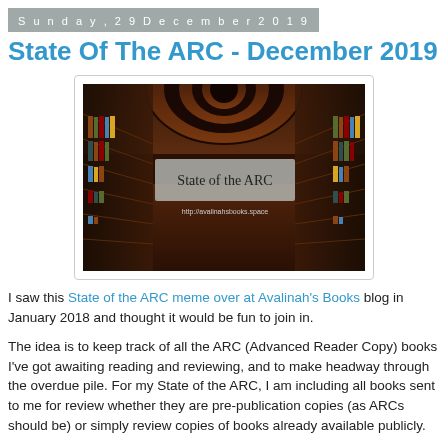Sunday, 29 December 2019
State Of The ARC - December 2019
[Figure (photo): Interior of a large ornate library with dark wood bookshelves and arched ceiling, with an overlay text box reading 'State of the ARC' and a URL 'http://avalinahsbooks.space']
I saw this State of the ARC meme over at Avalinah's Books blog in January 2018 and thought it would be fun to join in.
The idea is to keep track of all the ARC (Advanced Reader Copy) books I've got awaiting reading and reviewing, and to make headway through the overdue pile. For my State of the ARC, I am including all books sent to me for review whether they are pre-publication copies (as ARCs should be) or simply review copies of books already available publicly.